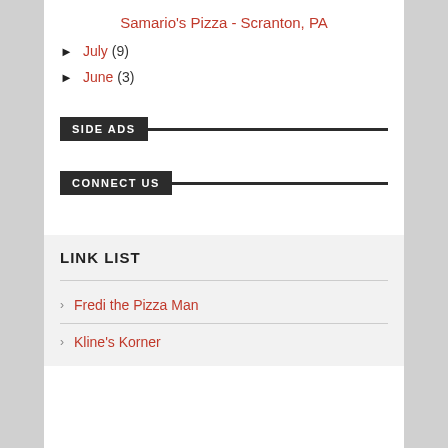Samario's Pizza - Scranton, PA
► July (9)
► June (3)
SIDE ADS
CONNECT US
LINK LIST
› Fredi the Pizza Man
› Kline's Korner